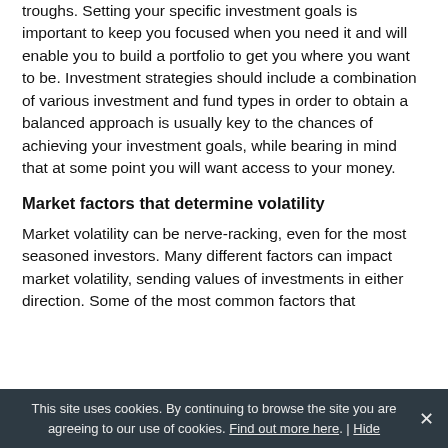troughs. Setting your specific investment goals is important to keep you focused when you need it and will enable you to build a portfolio to get you where you want to be. Investment strategies should include a combination of various investment and fund types in order to obtain a balanced approach is usually key to the chances of achieving your investment goals, while bearing in mind that at some point you will want access to your money.
Market factors that determine volatility
Market volatility can be nerve-racking, even for the most seasoned investors. Many different factors can impact market volatility, sending values of investments in either direction. Some of the most common factors that
This site uses cookies. By continuing to browse the site you are agreeing to our use of cookies. Find out more here. | Hide